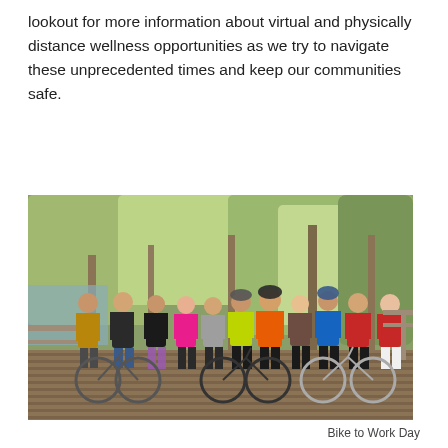lookout for more information about virtual and physically distance wellness opportunities as we try to navigate these unprecedented times and keep our communities safe.
[Figure (photo): Group of approximately 11 people standing with bicycles on a wooden boardwalk surrounded by green trees, wearing colorful jackets and cycling helmets.]
Bike to Work Day